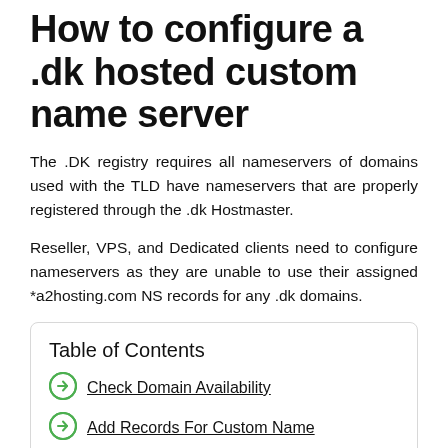How to configure a .dk hosted custom name server
The .DK registry requires all nameservers of domains used with the TLD have nameservers that are properly registered through the .dk Hostmaster.
Reseller, VPS, and Dedicated clients need to configure nameservers as they are unable to use their assigned *a2hosting.com NS records for any .dk domains.
Table of Contents
Check Domain Availability
Add Records For Custom Name